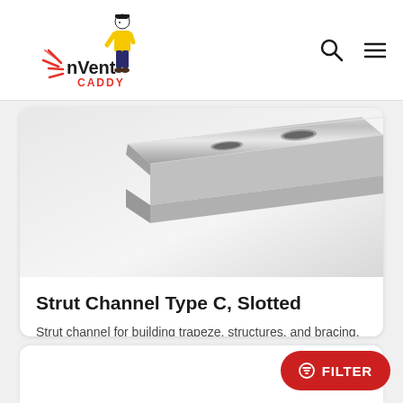nVent CADDY
[Figure (photo): Silver galvanized strut channel Type C slotted metal channel with oval slots on top, viewed at an angle]
Strut Channel Type C, Slotted
Strut channel for building trapeze, structures, and bracing.